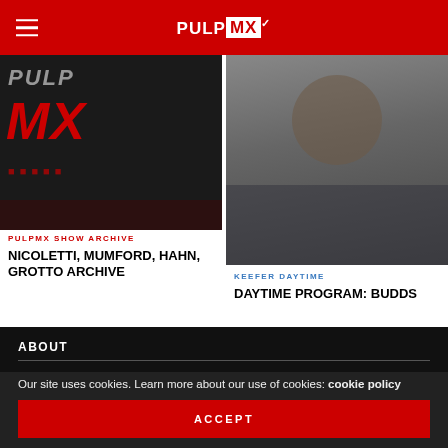PULPMX
[Figure (photo): Dark background with PULP MX logo in red text]
PULPMX SHOW ARCHIVE
NICOLETTI, MUMFORD, HAHN, GROTTO ARCHIVE
[Figure (photo): Blurred photo of a person outdoors]
KEEFER DAYTIME
DAYTIME PROGRAM: BUDDS
ABOUT
Our site uses cookies. Learn more about our use of cookies: cookie policy
ACCEPT